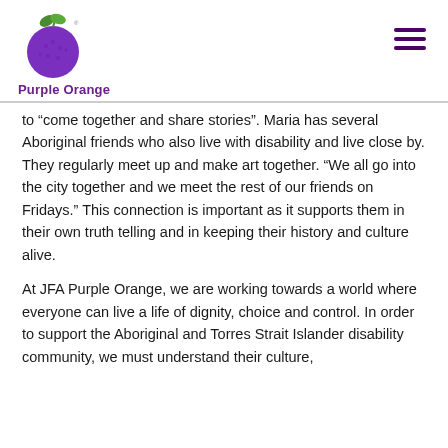[Figure (logo): Purple Orange logo: purple circle with green leaf on top, text 'Purple Orange' below in purple]
to “come together and share stories”. Maria has several Aboriginal friends who also live with disability and live close by. They regularly meet up and make art together. “We all go into the city together and we meet the rest of our friends on Fridays.” This connection is important as it supports them in their own truth telling and in keeping their history and culture alive.
At JFA Purple Orange, we are working towards a world where everyone can live a life of dignity, choice and control. In order to support the Aboriginal and Torres Strait Islander disability community, we must understand their culture,